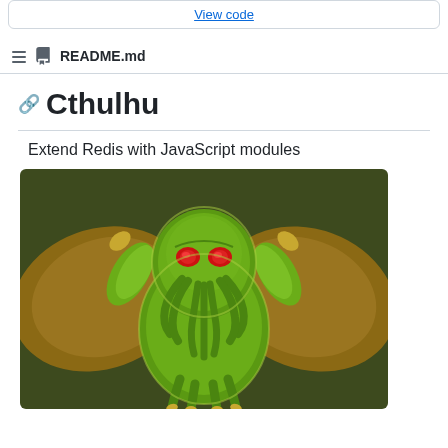View code
README.md
Cthulhu
Extend Redis with JavaScript modules
[Figure (illustration): Illustration of Cthulhu — a green tentacled creature with red eyes, bat wings, and muscular arms, set against a dark olive green background.]